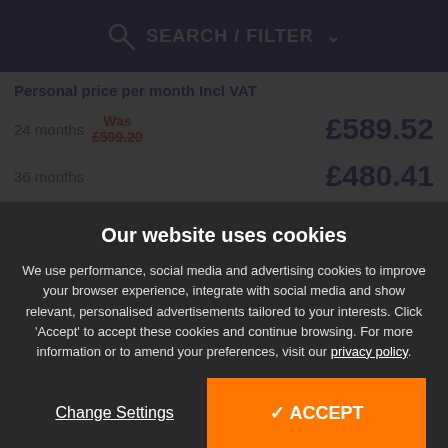SEARCH / FILTER
Personal price per month Incl VAT
24 months  Was £599.20  £589.52
36 months  £480.41
48 months  £440.32
[Figure (infographic): Row of icons: fuel drop (orange), direction sign, parking P, car with plus]
Our website uses cookies
We use performance, social media and advertising cookies to improve your browser experience, integrate with social media and show relevant, personalised advertisements tailored to your interests. Click 'Accept' to accept these cookies and continue browsing. For more information or to amend your preferences, visit our privacy policy.
Change Settings
✓ ACCEPT